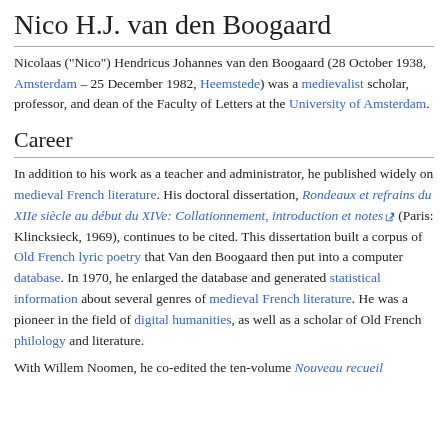Nico H.J. van den Boogaard
Nicolaas ("Nico") Hendricus Johannes van den Boogaard (28 October 1938, Amsterdam – 25 December 1982, Heemstede) was a medievalist scholar, professor, and dean of the Faculty of Letters at the University of Amsterdam.
Career
In addition to his work as a teacher and administrator, he published widely on medieval French literature. His doctoral dissertation, Rondeaux et refrains du XIIe siècle au début du XIVe: Collationnement, introduction et notes (Paris: Klincksieck, 1969), continues to be cited. This dissertation built a corpus of Old French lyric poetry that Van den Boogaard then put into a computer database. In 1970, he enlarged the database and generated statistical information about several genres of medieval French literature. He was a pioneer in the field of digital humanities, as well as a scholar of Old French philology and literature.
With Willem Noomen, he co-edited the ten-volume Nouveau recueil